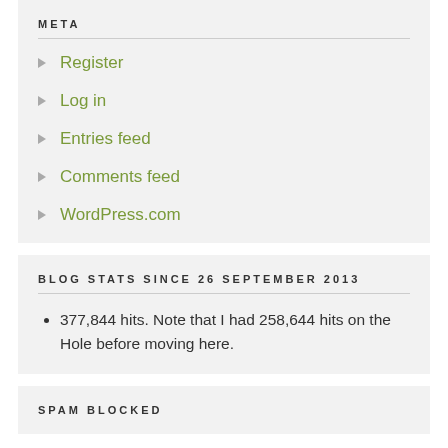META
Register
Log in
Entries feed
Comments feed
WordPress.com
BLOG STATS SINCE 26 SEPTEMBER 2013
377,844 hits. Note that I had 258,644 hits on the Hole before moving here.
SPAM BLOCKED